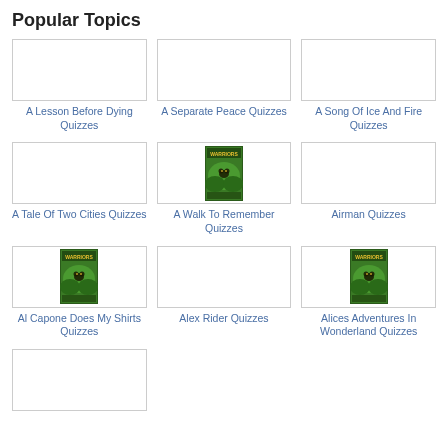Popular Topics
[Figure (photo): Book cover placeholder - A Lesson Before Dying]
A Lesson Before Dying Quizzes
[Figure (photo): Book cover placeholder - A Separate Peace]
A Separate Peace Quizzes
[Figure (photo): Book cover placeholder - A Song Of Ice And Fire]
A Song Of Ice And Fire Quizzes
[Figure (photo): Book cover placeholder - A Tale Of Two Cities]
A Tale Of Two Cities Quizzes
[Figure (photo): Warriors book cover - A Walk To Remember]
A Walk To Remember Quizzes
[Figure (photo): Book cover placeholder - Airman]
Airman Quizzes
[Figure (photo): Warriors book cover - Al Capone Does My Shirts]
Al Capone Does My Shirts Quizzes
[Figure (photo): Book cover placeholder - Alex Rider]
Alex Rider Quizzes
[Figure (photo): Warriors book cover - Alices Adventures In Wonderland]
Alices Adventures In Wonderland Quizzes
[Figure (photo): Book cover placeholder - row 4 item 1]